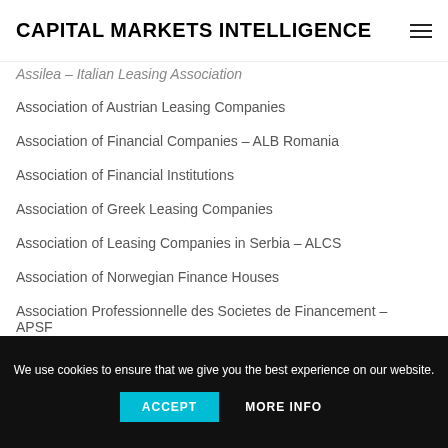CAPITAL MARKETS INTELLIGENCE
Assilea – Italian Leasing Association
Association of Austrian Leasing Companies
Association of Financial Companies – ALB Romania
Association of Financial Institutions
Association of Greek Leasing Companies
Association of Leasing Companies in Serbia – ALCS
Association of Norwegian Finance Houses
Association Professionnelle des Societes de Financement – APSF
We use cookies to ensure that we give you the best experience on our website.